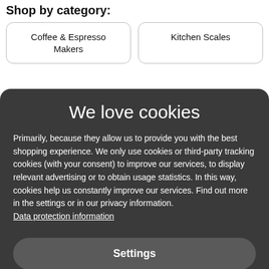Shop by category:
Coffee & Espresso Makers
Kitchen Scales
We love cookies
Primarily, because they allow us to provide you with the best shopping experience. We only use cookies or third-party tracking cookies (with your consent) to improve our services, to display relevant advertising or to obtain usage statistics. In this way, cookies help us constantly improve our services. Find out more in the settings or in our privacy information.
Data protection information
Settings
Reject all
Accept all